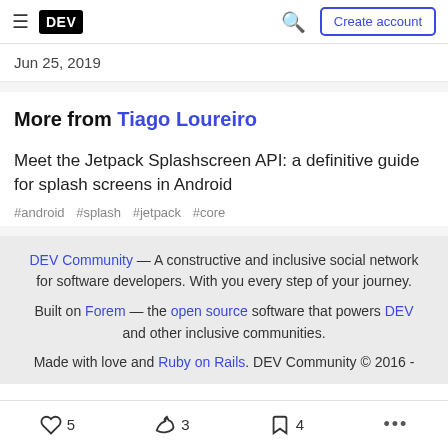DEV — Create account
Jun 25, 2019
More from Tiago Loureiro
Meet the Jetpack Splashscreen API: a definitive guide for splash screens in Android
#android #splash #jetpack #core
DEV Community — A constructive and inclusive social network for software developers. With you every step of your journey. Built on Forem — the open source software that powers DEV and other inclusive communities. Made with love and Ruby on Rails. DEV Community © 2016 -
5  3  4  ...